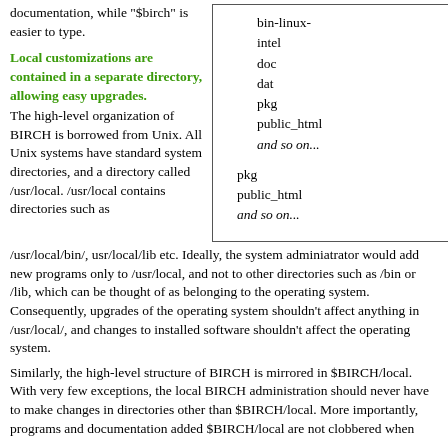documentation, while "$birch" is easier to type.
Local customizations are contained in a separate directory, allowing easy upgrades.
The high-level organization of BIRCH is borrowed from Unix. All Unix systems have standard system directories, and a directory called /usr/local. /usr/local contains directories such as
[Figure (other): Box listing BIRCH directory names: bin-linux-intel, doc, dat, pkg, public_html, and so on... and below: pkg, public_html, and so on...]
/usr/local/bin/, usr/local/lib etc. Ideally, the system adminiatrator would add new programs only to /usr/local, and not to other directories such as /bin or /lib, which can be thought of as belonging to the operating system. Consequently, upgrades of the operating system shouldn't affect anything in /usr/local/, and changes to installed software shouldn't affect the operating system.
Similarly, the high-level structure of BIRCH is mirrored in $BIRCH/local. With very few exceptions, the local BIRCH administration should never have to make changes in directories other than $BIRCH/local. More importantly, programs and documentation added $BIRCH/local are not clobbered when